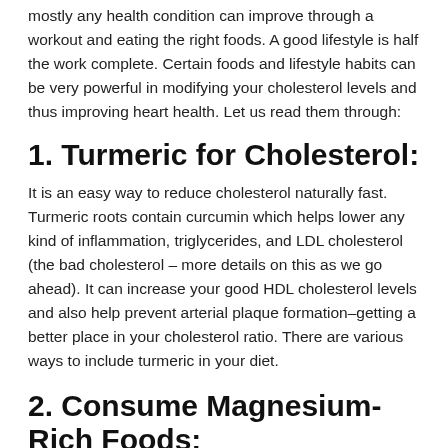mostly any health condition can improve through a workout and eating the right foods. A good lifestyle is half the work complete. Certain foods and lifestyle habits can be very powerful in modifying your cholesterol levels and thus improving heart health. Let us read them through:
1. Turmeric for Cholesterol:
It is an easy way to reduce cholesterol naturally fast. Turmeric roots contain curcumin which helps lower any kind of inflammation, triglycerides, and LDL cholesterol (the bad cholesterol – more details on this as we go ahead). It can increase your good HDL cholesterol levels and also help prevent arterial plaque formation–getting a better place in your cholesterol ratio. There are various ways to include turmeric in your diet.
2. Consume Magnesium-Rich Foods: